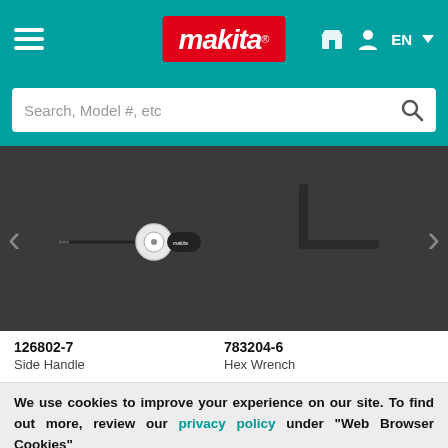makita - navigation header with hamburger menu, store icon, user icon, EN language selector
Search, Model #, etc
[Figure (photo): Product carousel on dark background showing two items: left side shows a Makita Side Handle (126802-7) - a tool with white disc and black handle, right side shows a Hex Wrench (783204-6) - an L-shaped black wrench. Left and right navigation arrows visible.]
126802-7
Side Handle
783204-6
Hex Wrench
We use cookies to improve your experience on our site. To find out more, review our privacy policy under "Web Browser Cookies"
ACCEPT ALL COOKIES
LEARN MORE